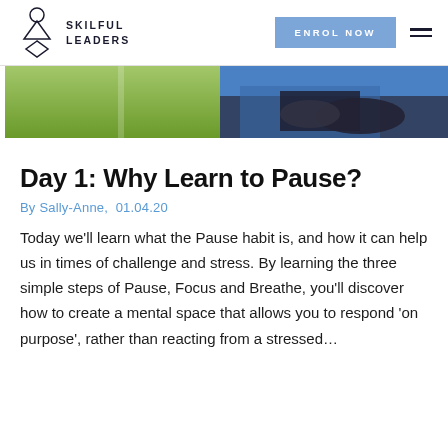SKILFUL LEADERS | ENROL NOW
[Figure (photo): Partial photo showing outdoor scene with green grass and a person wearing a blue jacket with black gloves, arms clasped together.]
Day 1: Why Learn to Pause?
By Sally-Anne,  01.04.20
Today we'll learn what the Pause habit is, and how it can help us in times of challenge and stress. By learning the three simple steps of Pause, Focus and Breathe, you'll discover how to create a mental space that allows you to respond 'on purpose', rather than reacting from a stressed...